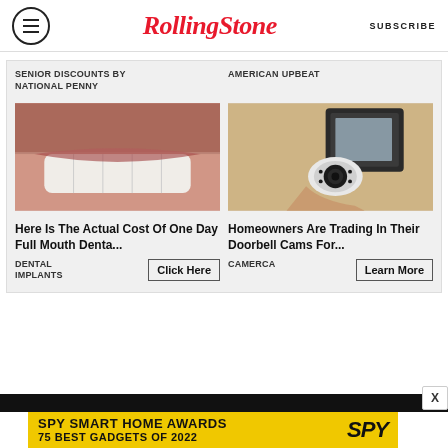RollingStone | SUBSCRIBE
SENIOR DISCOUNTS BY NATIONAL PENNY
AMERICAN UPBEAT
[Figure (photo): Close-up of a man's smile showing white teeth with stubble visible]
Here Is The Actual Cost Of One Day Full Mouth Denta...
DENTAL IMPLANTS
Click Here
[Figure (photo): Security camera attached to a wall light fixture on a stucco wall]
Homeowners Are Trading In Their Doorbell Cams For...
CAMERCA
Learn More
SPY SMART HOME AWARDS 75 BEST GADGETS OF 2022